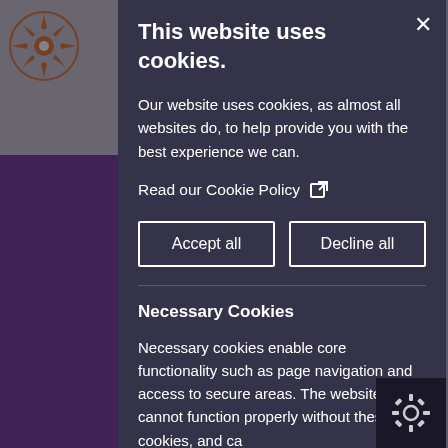[Figure (screenshot): Website background with sidebar, purple banner, logo, and page content partially visible behind cookie consent modal overlay]
This website uses cookies.
Our website uses cookies, as almost all websites do, to help provide you with the best experience we can.
Read our Cookie Policy ↗
Accept all
Decline all
Necessary Cookies
Necessary cookies enable core functionality such as page navigation and access to secure areas. The website cannot function properly without these cookies, and ca